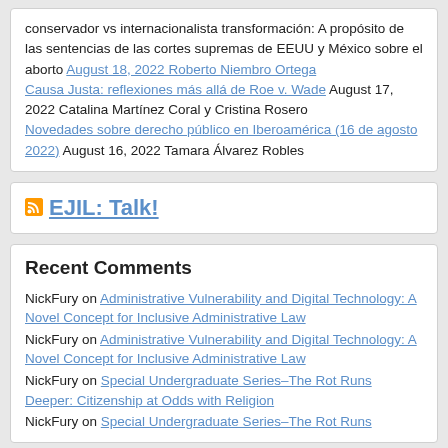conservador vs internacionalista transformación: A propósito de las sentencias de las cortes supremas de EEUU y México sobre el aborto August 18, 2022 Roberto Niembro Ortega Causa Justa: reflexiones más allá de Roe v. Wade August 17, 2022 Catalina Martínez Coral y Cristina Rosero Novedades sobre derecho público en Iberoamérica (16 de agosto 2022) August 16, 2022 Tamara Álvarez Robles
EJIL: Talk!
Recent Comments
NickFury on Administrative Vulnerability and Digital Technology: A Novel Concept for Inclusive Administrative Law
NickFury on Administrative Vulnerability and Digital Technology: A Novel Concept for Inclusive Administrative Law
NickFury on Special Undergraduate Series–The Rot Runs Deeper: Citizenship at Odds with Religion
NickFury on Special Undergraduate Series–The Rot Runs...